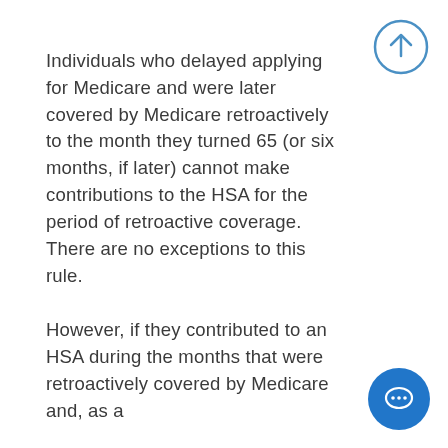[Figure (other): Circular scroll-up button with upward arrow icon, blue outline style, top-right corner]
Individuals who delayed applying for Medicare and were later covered by Medicare retroactively to the month they turned 65 (or six months, if later) cannot make contributions to the HSA for the period of retroactive coverage. There are no exceptions to this rule.
However, if they contributed to an HSA during the months that were retroactively covered by Medicare and, as a
[Figure (other): Solid blue circular chat/message button with speech bubble icon, bottom-right corner]